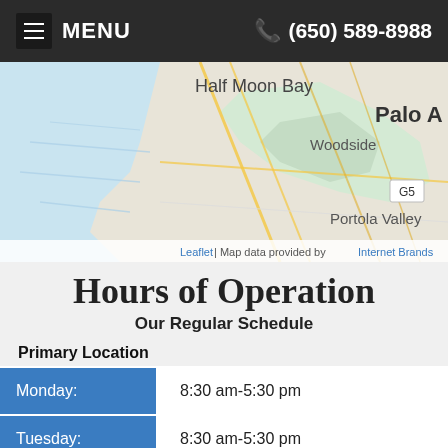MENU  (650) 589-8988
[Figure (map): Street map showing Half Moon Bay, Woodside, Portola Valley, Palo Alto area with Leaflet map. Attribution: Leaflet | Map data provided by Internet Brands]
Hours of Operation
Our Regular Schedule
Primary Location
| Day | Hours |
| --- | --- |
| Monday: | 8:30 am-5:30 pm |
| Tuesday: | 8:30 am-5:30 pm |
| Wednesday: | 9:00 a... |